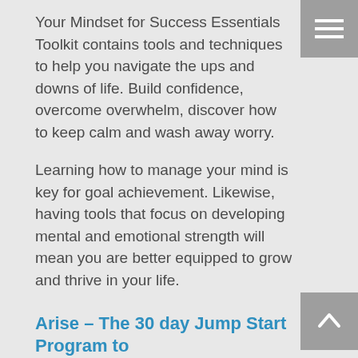Your Mindset for Success Essentials Toolkit contains tools and techniques to help you navigate the ups and downs of life. Build confidence, overcome overwhelm, discover how to keep calm and wash away worry.

Learning how to manage your mind is key for goal achievement. Likewise, having tools that focus on developing mental and emotional strength will mean you are better equipped to grow and thrive in your life.
[Figure (other): Hamburger menu icon - three horizontal white lines on grey square background, top right corner]
FREE TOOLKIT
[Figure (other): Scroll to top button - upward arrow icon in white on grey square background, bottom right corner]
Arise – The 30 day Jump Start Program to